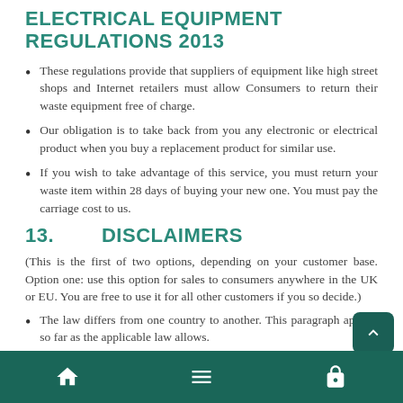ELECTRICAL EQUIPMENT REGULATIONS 2013
These regulations provide that suppliers of equipment like high street shops and Internet retailers must allow Consumers to return their waste equipment free of charge.
Our obligation is to take back from you any electronic or electrical product when you buy a replacement product for similar use.
If you wish to take advantage of this service, you must return your waste item within 28 days of buying your new one. You must pay the carriage cost to us.
13.        DISCLAIMERS
(This is the first of two options, depending on your customer base. Option one: use this option for sales to consumers anywhere in the UK or EU. You are free to use it for all other customers if you so decide.)
The law differs from one country to another. This paragraph applies so far as the applicable law allows.
Navigation bar with home, menu, and lock icons